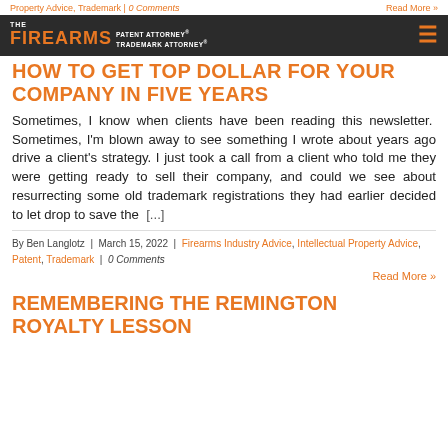Property Advice, Trademark | 0 Comments   Read More »
[Figure (logo): The Firearms Patent Attorney® Trademark Attorney® logo with hamburger menu icon]
HOW TO GET TOP DOLLAR FOR YOUR COMPANY IN FIVE YEARS
Sometimes, I know when clients have been reading this newsletter. Sometimes, I'm blown away to see something I wrote about years ago drive a client's strategy. I just took a call from a client who told me they were getting ready to sell their company, and could we see about resurrecting some old trademark registrations they had earlier decided to let drop to save the [...]
By Ben Langlotz | March 15, 2022 | Firearms Industry Advice, Intellectual Property Advice, Patent, Trademark | 0 Comments
Read More »
REMEMBERING THE REMINGTON ROYALTY LESSON